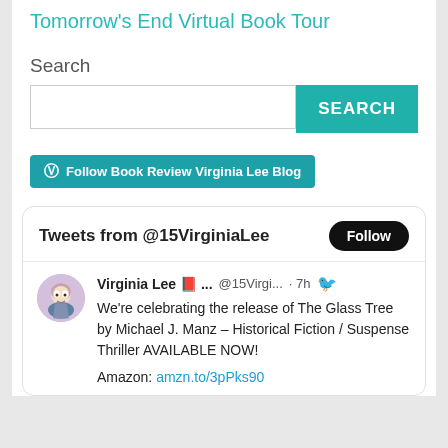Tomorrow's End Virtual Book Tour
Search
Follow Book Review Virginia Lee Blog
Tweets from @15VirginiaLee
Virginia Lee 📕 ... @15Virgi... · 7h — We're celebrating the release of The Glass Tree by Michael J. Manz – Historical Fiction / Suspense Thriller AVAILABLE NOW! Amazon: amzn.to/3pPks90